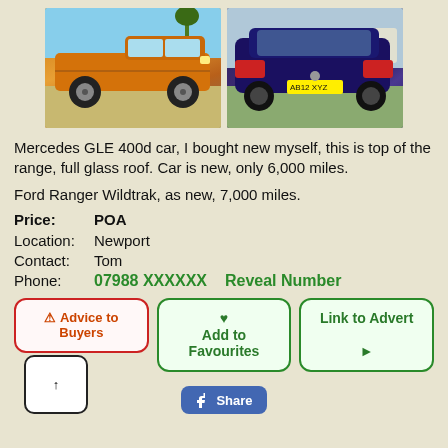[Figure (photo): Two vehicle photos side by side: left shows an orange Ford Ranger Wildtrak pickup truck, right shows a dark blue/purple Mercedes GLE SUV rear view.]
Mercedes GLE 400d car, I bought new myself, this is top of the range, full glass roof. Car is new, only 6,000 miles.
Ford Ranger Wildtrak, as new, 7,000 miles.
Price: POA
Location: Newport
Contact: Tom
Phone: 07988 XXXXXX   Reveal Number